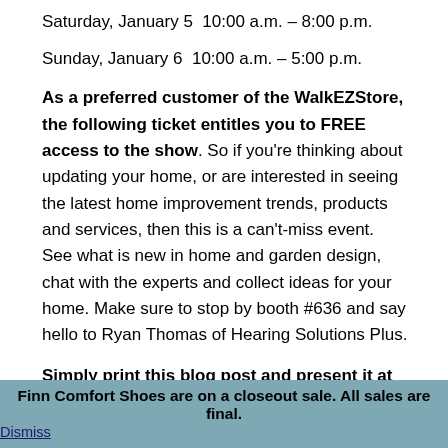Saturday, January 5  10:00 a.m. – 8:00 p.m.
Sunday, January 6  10:00 a.m. – 5:00 p.m.
As a preferred customer of the WalkEZStore, the following ticket entitles you to FREE access to the show. So if you're thinking about updating your home, or are interested in seeing the latest home improvement trends, products and services, then this is a can't-miss event. See what is new in home and garden design, chat with the experts and collect ideas for your home. Make sure to stop by booth #636 and say hello to Ryan Thomas of Hearing Solutions Plus.
Simply print this blog post and present it at the door for free access to the event for you and a
Finn Comfort Shoes are on a closeout sale. All sales are final. Dismiss